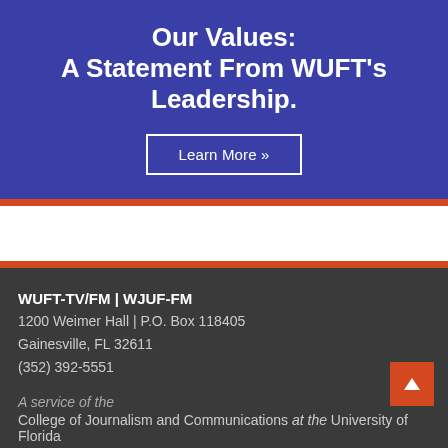Our Values: A Statement From WUFT's Leadership.
Learn More »
WUFT-TV/FM | WJUF-FM
1200 Weimer Hall | P.O. Box 118405
Gainesville, FL 32611
(352) 392-5551
A service of the
College of Journalism and Communications at the University of Florida
About